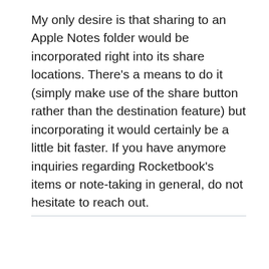My only desire is that sharing to an Apple Notes folder would be incorporated right into its share locations. There's a means to do it (simply make use of the share button rather than the destination feature) but incorporating it would certainly be a little bit faster. If you have anymore inquiries regarding Rocketbook's items or note-taking in general, do not hesitate to reach out.